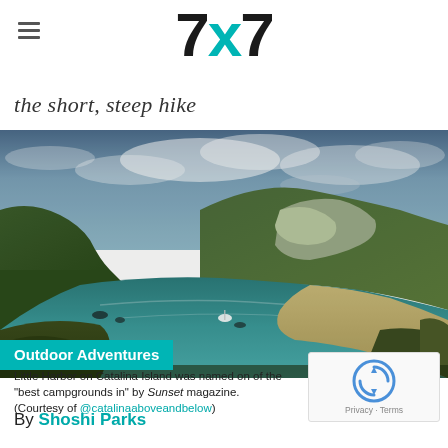7x7
the short, steep hike
[Figure (photo): Aerial coastal landscape photo of Little Harbor on Catalina Island, showing a curved sandy beach, turquoise water bay, rugged green hills, rocks, a boat in the water, and dramatic cloudy sky.]
Outdoor Adventures
Little Harbor on Catalina Island was named on of the "best campgrounds in" by Sunset magazine. (Courtesy of @catalinaaboveandbelow)
By Shoshi Parks